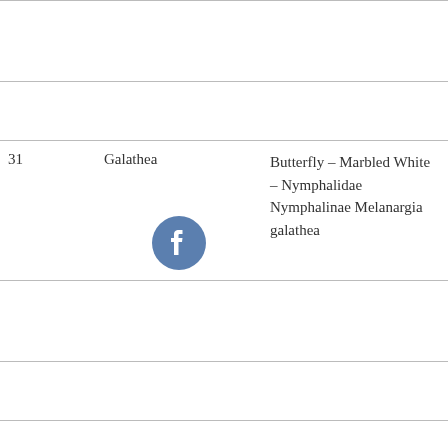| # | Name | Description |  |
| --- | --- | --- | --- |
|  |  |  |  |
|  |  |  |  |
| 31 | Galathea | Butterfly – Marbled White – Nymphalidae Nymphalinae Melanargia galathea | 19 |
|  |  |  |  |
|  |  |  |  |
|  |  |  |  |